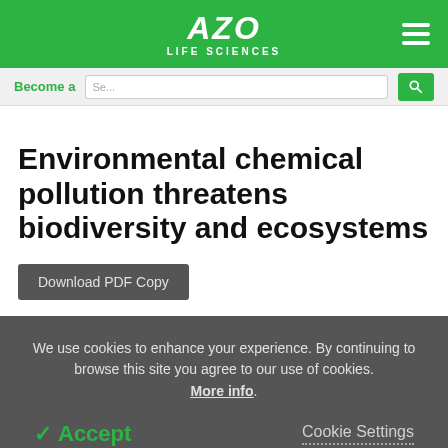AZO LIFE SCIENCES
Become a
Environmental chemical pollution threatens biodiversity and ecosystems
Download PDF Copy
We use cookies to enhance your experience. By continuing to browse this site you agree to our use of cookies. More info.
Accept   Cookie Settings